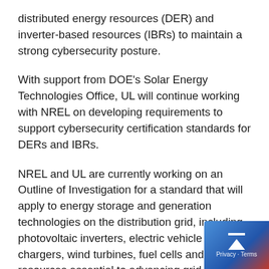distributed energy resources (DER) and inverter-based resources (IBRs) to maintain a strong cybersecurity posture.
With support from DOE's Solar Energy Technologies Office, UL will continue working with NREL on developing requirements to support cybersecurity certification standards for DERs and IBRs.
NREL and UL are currently working on an Outline of Investigation for a standard that will apply to energy storage and generation technologies on the distribution grid, including photovoltaic inverters, electric vehicle chargers, wind turbines, fuel cells and other resources essential to advancing grid operations
These new requirements will prioritize cybersecurity